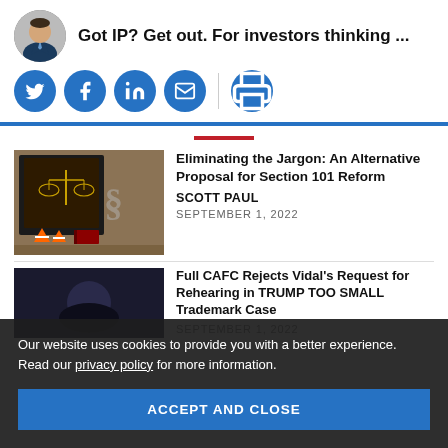Got IP? Get out. For investors thinking ...
[Figure (infographic): Social share icons: Twitter, Facebook, LinkedIn, Email, Print]
[Figure (illustration): Legal themed thumbnail with scales of justice, section symbol, traffic cones, and books]
Eliminating the Jargon: An Alternative Proposal for Section 101 Reform
SCOTT PAUL
SEPTEMBER 1, 2022
[Figure (illustration): Cookie consent overlay with text and accept button]
Full CAFC Rejects Vidal's Request for Rehearing in TRUMP TOO SMALL Trademark Case
SEPTEMBER 1, 2022